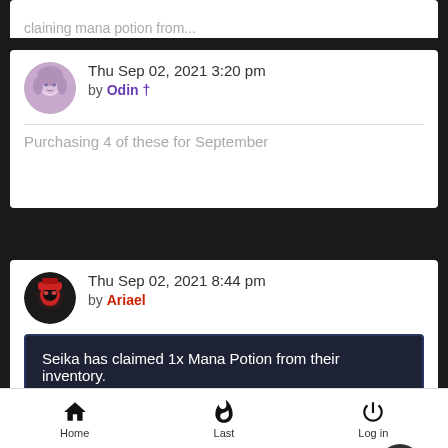(partial top post, cropped)
Thu Sep 02, 2021 3:20 pm by Odin †
Purchasing 4 of these for September
Thu Sep 02, 2021 8:44 pm by Ariael
Seika has claimed 1x Mana Potion from their inventory.
(partial dark box text, cropped)
Home  Last  Log in